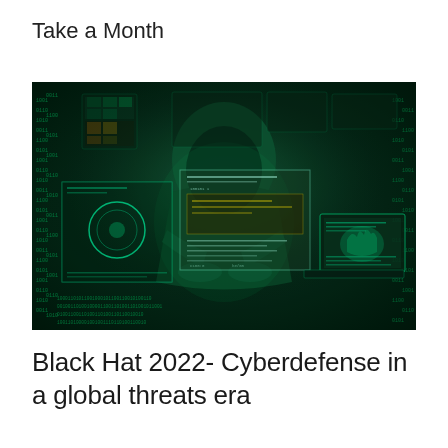Take a Month
[Figure (photo): A hooded hacker figure sitting at a keyboard surrounded by green digital matrices, holographic floating screens with code, and a laptop, all in a dark cyberpunk atmosphere with green glowing tones.]
Black Hat 2022- Cyberdefense in a global threats era